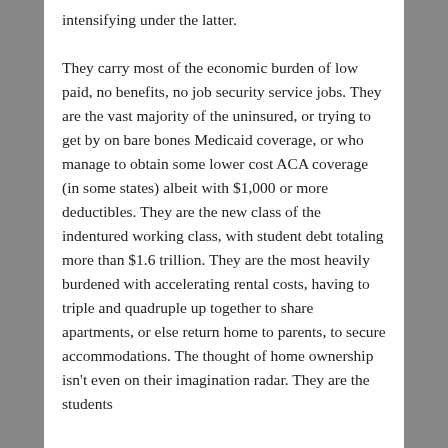intensifying under the latter.

They carry most of the economic burden of low paid, no benefits, no job security service jobs. They are the vast majority of the uninsured, or trying to get by on bare bones Medicaid coverage, or who manage to obtain some lower cost ACA coverage (in some states) albeit with $1,000 or more deductibles. They are the new class of the indentured working class, with student debt totaling more than $1.6 trillion. They are the most heavily burdened with accelerating rental costs, having to triple and quadruple up together to share apartments, or else return home to parents, to secure accommodations. The thought of home ownership isn't even on their imagination radar. They are the students